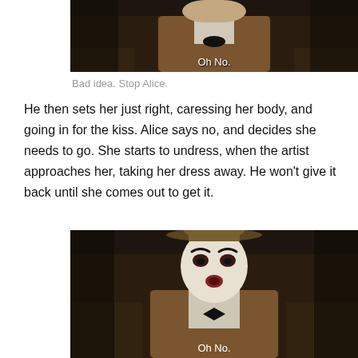[Figure (screenshot): Screenshot of a mime/clown character in a tweed jacket with bow tie, subtitle reading 'Oh No.']
Bad idea. Stop Alice.
He then sets her just right, caressing her body, and going in for the kiss. Alice says no, and decides she needs to go. She starts to undress, when the artist approaches her, taking her dress away. He won't give it back until she comes out to get it.
[Figure (screenshot): Screenshot of the same mime/clown character in a bowler hat and tweed jacket with bow tie, subtitle reading 'Oh No.']